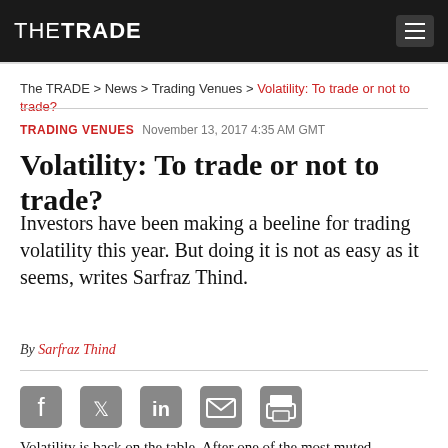THE TRADE
The TRADE > News > Trading Venues > Volatility: To trade or not to trade?
TRADING VENUES   November 13, 2017 4:35 AM GMT
Volatility: To trade or not to trade?
Investors have been making a beeline for trading volatility this year. But doing it is not as easy as it seems, writes Sarfraz Thind.
By Sarfraz Thind
[Figure (infographic): Social sharing icons: Facebook, Twitter, LinkedIn, Email, Print]
Volatility is back on the table. After one of the most muted